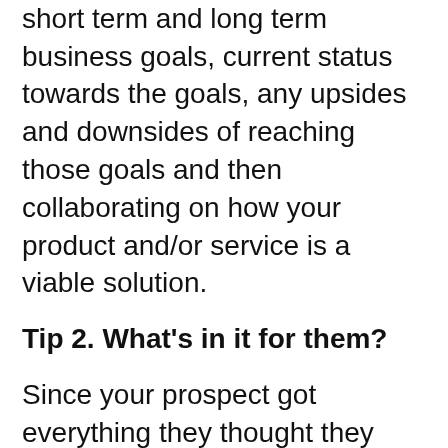partner exploring the buyer's short term and long term business goals, current status towards the goals, any upsides and downsides of reaching those goals and then collaborating on how your product and/or service is a viable solution.
Tip 2. What's in it for them?
Since your prospect got everything they thought they needed off of the internet, they also don't feel they need a sales representative for anything more than taking an order.
By keeping the focus of every conversation on what's in it for them/